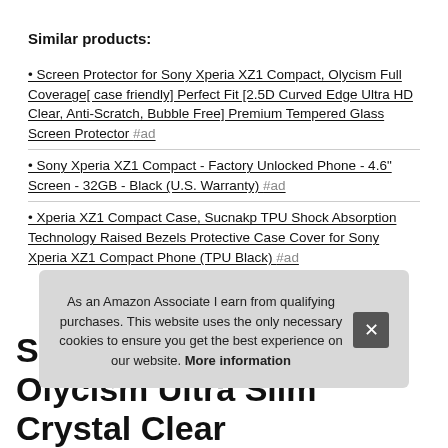Similar products:
Screen Protector for Sony Xperia XZ1 Compact, Olycism Full Coverage[ case friendly] Perfect Fit [2.5D Curved Edge Ultra HD Clear, Anti-Scratch, Bubble Free] Premium Tempered Glass Screen Protector #ad
Sony Xperia XZ1 Compact - Factory Unlocked Phone - 4.6" Screen - 32GB - Black (U.S. Warranty) #ad
Xperia XZ1 Compact Case, Sucnakp TPU Shock Absorption Technology Raised Bezels Protective Case Cover for Sony Xperia XZ1 Compact Phone (TPU Black) #ad
As an Amazon Associate I earn from qualifying purchases. This website uses the only necessary cookies to ensure you get the best experience on our website. More information
Screen Protector for Sony Xperia XZ1 Compact, Olycism Ultra Slim Crystal Clear